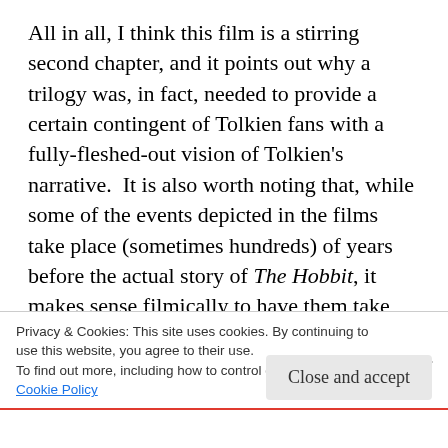All in all, I think this film is a stirring second chapter, and it points out why a trilogy was, in fact, needed to provide a certain contingent of Tolkien fans with a fully-fleshed-out vision of Tolkien's narrative.  It is also worth noting that, while some of the events depicted in the films take place (sometimes hundreds) of years before the actual story of The Hobbit, it makes sense filmically to have them take place now.  Thus, we see the corruption of Mirkwood taking place during the timespan of An Unexpected Journey and Gandalf's discovery of the Necromancer's true identity in Desolation in the filmic present because
Privacy & Cookies: This site uses cookies. By continuing to use this website, you agree to their use.
To find out more, including how to control cookies, see here: Cookie Policy
Close and accept